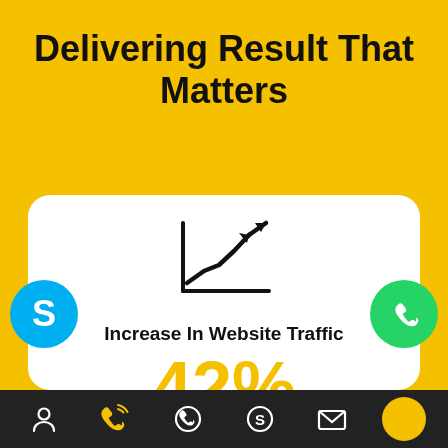Delivering Result That Matters
[Figure (infographic): Rising line chart icon (trending up arrow) representing website traffic growth]
Increase In Website Traffic
42%
[Figure (infographic): Skype logo bubble (blue circle with white S)]
[Figure (infographic): WhatsApp logo bubble (green circle with white phone handset)]
Bottom navigation bar with user, phone, WhatsApp, Skype, mail icons and yellow circle